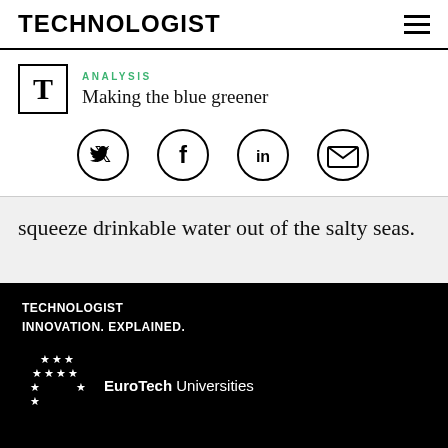TECHNOLOGIST
ANALYSIS
Making the blue greener
[Figure (infographic): Social share icons: Twitter, Facebook, LinkedIn, Email]
squeeze drinkable water out of the salty seas.
TECHNOLOGIST INNOVATION. EXPLAINED.
[Figure (logo): EuroTech Universities logo with EU stars]